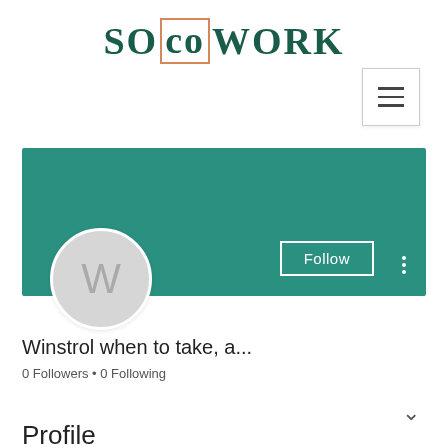[Figure (logo): SO co WORK logo in dark teal/green with 'co' in a salmon/orange bordered box]
[Figure (screenshot): Hamburger menu button (three horizontal lines) in a white bordered square]
[Figure (screenshot): User profile banner in teal with Follow button and three-dot menu, plus circular avatar with letter W]
Winstrol when to take, a...
0 Followers • 0 Following
Profile